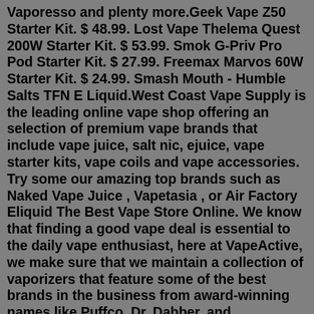Vaporesso and plenty more.Geek Vape Z50 Starter Kit. $ 48.99. Lost Vape Thelema Quest 200W Starter Kit. $ 53.99. Smok G-Priv Pro Pod Starter Kit. $ 27.99. Freemax Marvos 60W Starter Kit. $ 24.99. Smash Mouth - Humble Salts TFN E Liquid.West Coast Vape Supply is the leading online vape shop offering an selection of premium vape brands that include vape juice, salt nic, ejuice, vape starter kits, vape coils and vape accessories. Try some our amazing top brands such as Naked Vape Juice , Vapetasia , or Air Factory Eliquid The Best Vape Store Online. We know that finding a good vape deal is essential to the daily vape enthusiast, here at VapeActive, we make sure that we maintain a collection of vaporizers that feature some of the best brands in the business from award-winning names like Puffco, Dr. Dabber, and KandyPens as well as other premium brands like Storz & Bickel, Atmos, Grenco Science, and PaxLabs (Formerly: Ploom) makers of (Pax 3 and Pax 2 Vaporizers). We've got vaporizers from the biggest names in ... Vapor Lounge